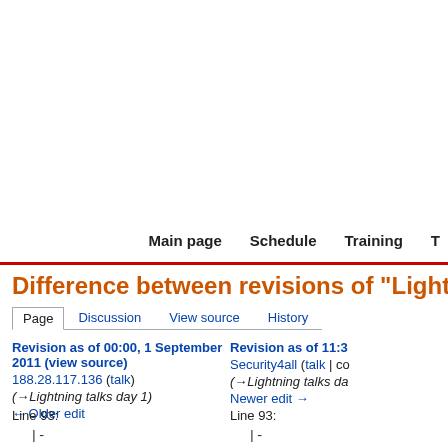Main page  Schedule  Training  T
Difference between revisions of "Lightning Talks"
Page  Discussion  View source  History
Revision as of 00:00, 1 September 2011 (view source)
188.28.117.136 (talk)
(→Lightning talks day 1)
← Older edit
Revision as of 11:3
Security4all (talk | co
(→Lightning talks da
Newer edit →
Line 93:
Line 93:
|-
|-
| 4
|